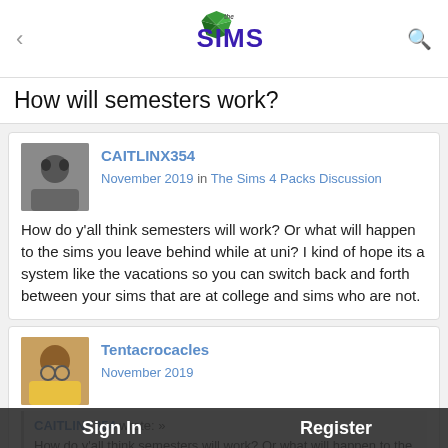The Sims
How will semesters work?
CAITLINX354
November 2019 in The Sims 4 Packs Discussion

How do y'all think semesters will work? Or what will happen to the sims you leave behind while at uni? I kind of hope its a system like the vacations so you can switch back and forth between your sims that are at college and sims who are not.
Tentacrocacles
November 2019

CAITLINX354 wrote: »
How do y'all think semesters will work? Or what will happen to the sims you leave behind while at uni? I kind of hope its a system like the vacations so you can switch back and forth between your sims at
Sign In    Register